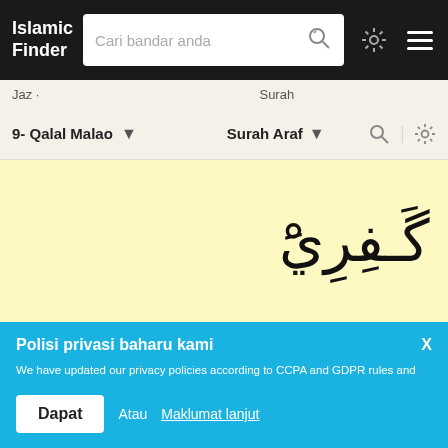Islamic Finder
Cari bandar anda
Jaz · Surah
9- Qalal Malao
Surah Araf
[Figure (other): Arabic text in yellow background]
Polisi privasi baharu kami
We have updated our privacy policies according to CCPA and GDPR rules and regulations for Californian and EU citizens respectively. If you continue using our website, then you have agreed to our Terms of Use and Privacy Policy.
Dapat  Atau Maklumat lanjut